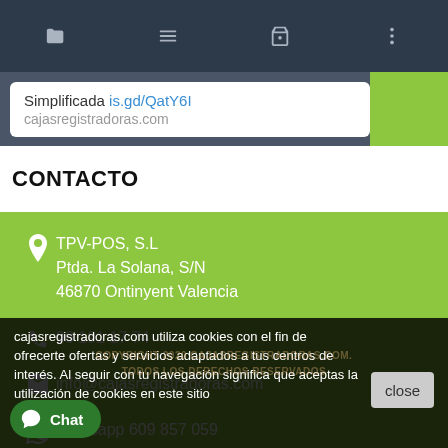[Figure (screenshot): Mobile browser navigation bar with folder, menu, basket, and more icons on dark background]
Simplificada is.gd/QatY6l
CONTACTO
TPV-POS, S.L
Ptda. La Solana, S/N
46870 Ontinyent Valencia
96 191 17 74
info@cajasregistradoras.com
whatsapp 609 857 059
cajasregistradoras.com utiliza cookies con el fin de ofrecerte ofertas y servicios adaptados a tus centros de interés. Al seguir con tu navegación significa que aceptas la utilización de cookies en este sitio
COPYRIGHT 2020 CAJASREGISTRADORAS.COM. TODOS LOS DERECHOS RESERVADOS